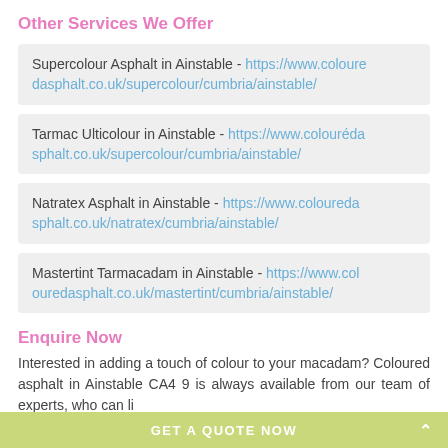Other Services We Offer
Supercolour Asphalt in Ainstable - https://www.colouredasphalt.co.uk/supercolour/cumbria/ainstable/
Tarmac Ulticolour in Ainstable - https://www.colouredasphalt.co.uk/supercolour/cumbria/ainstable/
Natratex Asphalt in Ainstable - https://www.colouredasphalt.co.uk/natratex/cumbria/ainstable/
Mastertint Tarmacadam in Ainstable - https://www.colouredasphalt.co.uk/mastertint/cumbria/ainstable/
Enquire Now
Interested in adding a touch of colour to your macadam? Coloured asphalt in Ainstable CA4 9 is always available from our team of experts, who can li…
GET A QUOTE NOW